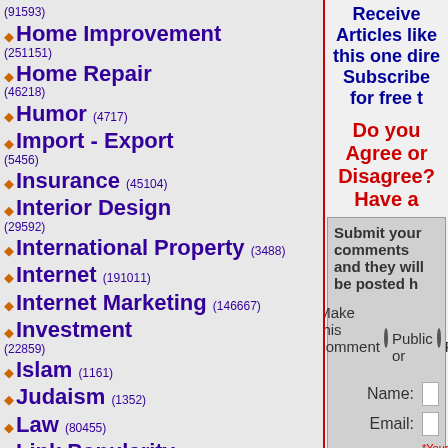(91593) ◆ Home Improvement (251151)
◆ Home Repair (46218)
◆ Humor (4717)
◆ Import - Export (5456)
◆ Insurance (45104)
◆ Interior Design (29592)
◆ International Property (3488)
◆ Internet (191011)
◆ Internet Marketing (146667)
◆ Investment (22859)
◆ Islam (1161)
◆ Judaism (1352)
◆ Law (80455)
◆ Link Popularity (4596)
◆ Manufacturing (20902)
◆ Marketing (99278)
◆ MLM (14140)
◆ Motivation (18233)
◆ Music (26000)
Receive Articles like this one directly to your email box! Subscribe for free today!
Do you Agree or Disagree? Have a comment?
Submit your comments and they will be posted here.
Make this comment  Public or  P
Name:
Email:
*Your email will NOT be posted. This is for admir
Comments: *Your Comments WILL be posted to the AUTHOR'S PUBLIC PAGE if you select PUBLIC, so write ac